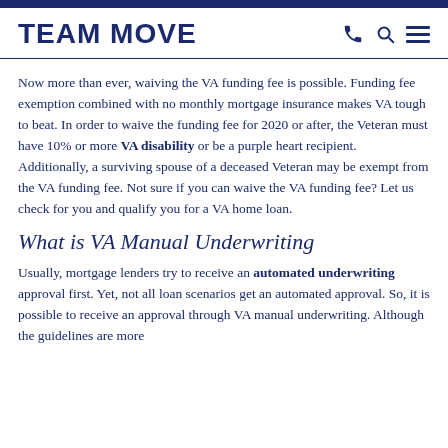TEAM MOVE
Now more than ever, waiving the VA funding fee is possible. Funding fee exemption combined with no monthly mortgage insurance makes VA tough to beat. In order to waive the funding fee for 2020 or after, the Veteran must have 10% or more VA disability or be a purple heart recipient. Additionally, a surviving spouse of a deceased Veteran may be exempt from the VA funding fee. Not sure if you can waive the VA funding fee? Let us check for you and qualify you for a VA home loan.
What is VA Manual Underwriting
Usually, mortgage lenders try to receive an automated underwriting approval first. Yet, not all loan scenarios get an automated approval. So, it is possible to receive an approval through VA manual underwriting. Although the guidelines are more